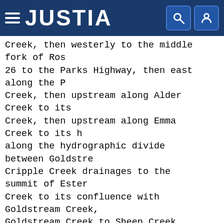JUSTIA
Creek, then westerly to the middle fork of Ros 26 to the Parks Highway, then east along the P Creek, then upstream along Alder Creek to its Creek, then upstream along Emma Creek to its h along the hydrographic divide between Goldstr Cripple Creek drainages to the summit of Este Creek to its confluence with Goldstream Creek Goldstream Creek to Sheep Creek Road, then nor Murphy Dome Road, then west on Murphy Dome Roa Road, then east on Old Murphy Dome Road to the south on the Elliot Highway to Goldstream Cree Goldstream Creek to its confluence with First Ditch, then southeasterly along the Davidson D with the tributary to Goldstream Creek in Sec along the tributary to its confluence with Go straight line to First Chance Creek, then up F Toaster Mill, then south along a straight line